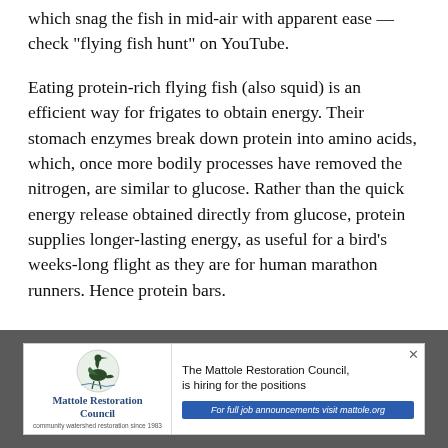which snag the fish in mid-air with apparent ease — check "flying fish hunt" on YouTube.
Eating protein-rich flying fish (also squid) is an efficient way for frigates to obtain energy. Their stomach enzymes break down protein into amino acids, which, once more bodily processes have removed the nitrogen, are similar to glucose. Rather than the quick energy release obtained directly from glucose, protein supplies longer-lasting energy, as useful for a bird's weeks-long flight as they are for human marathon runners. Hence protein bars.
Klutzy on land, unable to land on water, frigate birds more than make up for these disadvantages when they're aloft, week after week after week. If you're headed to a Mexican beach soon, remember to look up.
[Figure (infographic): Advertisement banner for Mattole Restoration Council showing their logo with a heron/bird illustration, text reading 'Mattole Restoration Council, community watershed restoration since 1983', and a message 'The Mattole Restoration Council, is hiring for the positions' with a blue CTA button 'For full job announcements visit mattole.org']